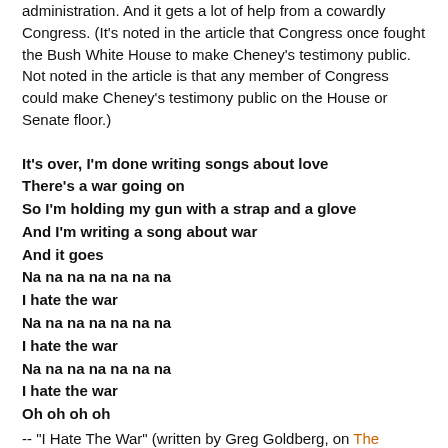administration. And it gets a lot of help from a cowardly Congress. (It's noted in the article that Congress once fought the Bush White House to make Cheney's testimony public. Not noted in the article is that any member of Congress could make Cheney's testimony public on the House or Senate floor.)
It's over, I'm done writing songs about love
There's a war going on
So I'm holding my gun with a strap and a glove
And I'm writing a song about war
And it goes
Na na na na na na na
I hate the war
Na na na na na na na
I hate the war
Na na na na na na na
I hate the war
Oh oh oh oh
-- "I Hate The War" (written by Greg Goldberg, on The Ballet's Mattachine!)